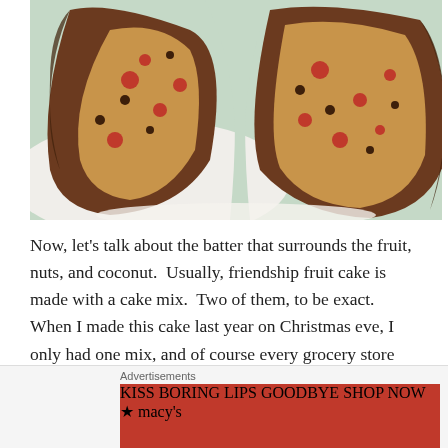[Figure (photo): Close-up photo of sliced fruitcake showing the interior with red cherries, nuts, and dense dark batter, placed on a white doily/plate]
Now, let's talk about the batter that surrounds the fruit, nuts, and coconut.  Usually, friendship fruit cake is made with a cake mix.  Two of them, to be exact.  When I made this cake last year on Christmas eve, I only had one mix, and of course every grocery store was closed, and I couldn't find a single convenience store that sold cake mixes.  Rather than let the lack of a second mix defeat
[Figure (advertisement): Macy's advertisement banner: 'KISS BORING LIPS GOODBYE' with SHOP NOW button and Macy's star logo, featuring a woman's face with red lipstick]